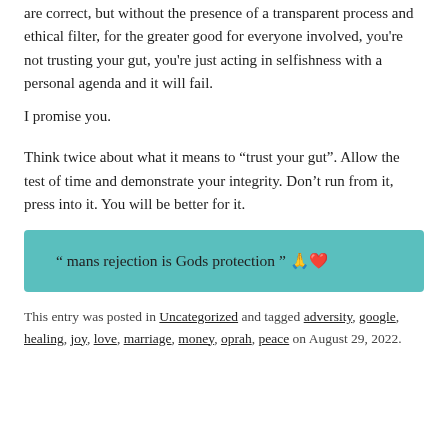are correct, but without the presence of a transparent process and ethical filter, for the greater good for everyone involved, you're not trusting your gut, you're just acting in selfishness with a personal agenda and it will fail.
I promise you.
Think twice about what it means to “trust your gut”. Allow the test of time and demonstrate your integrity. Don’t run from it, press into it. You will be better for it.
“ mans rejection is Gods protection ” 🙏❤
This entry was posted in Uncategorized and tagged adversity, google, healing, joy, love, marriage, money, oprah, peace on August 29, 2022.